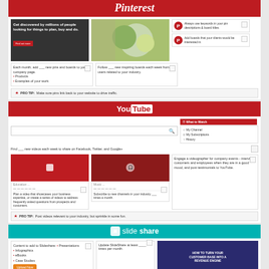Pinterest
Get discovered by millions of people looking for things to plan, buy and do.
Each month, add ___ new pins and boards to your company page. Products. Examples of your work.
Follow ___ new inspiring boards each week from users related to your industry.
Always use keywords in your pin descriptions & board titles.
Add boards that your clients would be interested in.
PRO TIP: Make sure pins link back to your website to drive traffic.
YouTube
Find ___ new videos each week to share on Facebook, Twitter, and Google+
What to Watch. My Channel. My Subscriptions. History.
Plan a video that showcases your business expertise, or create a series of videos to address frequently asked questions from prospects and customers.
Subscribe to new channels in your industry ___ times a month.
Engage a videographer for company events - interview customers and employees when they are in a good mood, and post testimonials to YouTube.
PRO TIP: Post videos relevant to your industry, but sprinkle in some fun.
slideshare
Content to add to Slideshare: Presentations, Infographics, eBooks, Case Studies.
Update SlideShare at least ____ times per month.
[Figure (screenshot): SlideShare preview showing 'HOW TO TURN YOUR CUSTOMER BASE INTO A REVENUE ENGINE']